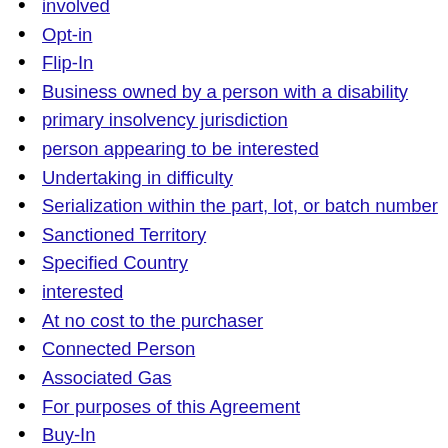involved
Opt-in
Flip-In
Business owned by a person with a disability
primary insolvency jurisdiction
person appearing to be interested
Undertaking in difficulty
Serialization within the part, lot, or batch number
Sanctioned Territory
Specified Country
interested
At no cost to the purchaser
Connected Person
Associated Gas
For purposes of this Agreement
Buy-In
Substantial and Compelling Reason in the Public Interest
Serialization within the enterprise identifier
Reasonable in the circumstances
Prudent
With or without meals
authorised activities
Finder
Centre of Main Interests
member of a couple
Reasonable and Customary